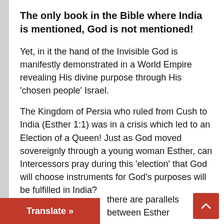The only book in the Bible where India is mentioned, God is not mentioned!
Yet, in it the hand of the Invisible God is manifestly demonstrated in a World Empire revealing His divine purpose through His ‘chosen people’ Israel.
The Kingdom of Persia who ruled from Cush to India (Esther 1:1) was in a crisis which led to an Election of a Queen! Just as God moved sovereignly through a young woman Esther, can Intercessors pray during this ‘election’ that God will choose instruments for God’s purposes will be fulfilled in India?
there are parallels between Esther